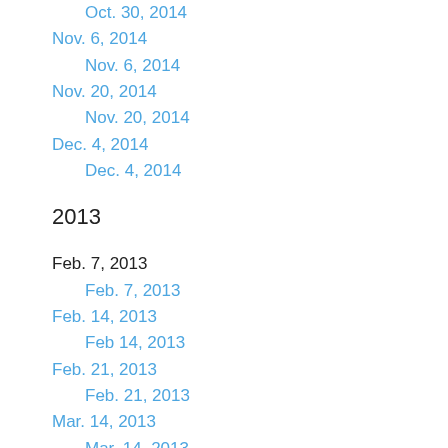Oct. 30, 2014
Nov. 6, 2014
Nov. 6, 2014
Nov. 20, 2014
Nov. 20, 2014
Dec. 4, 2014
Dec. 4, 2014
2013
Feb. 7, 2013
Feb. 7, 2013
Feb. 14, 2013
Feb 14, 2013
Feb. 21, 2013
Feb. 21, 2013
Mar. 14, 2013
Mar. 14, 2013